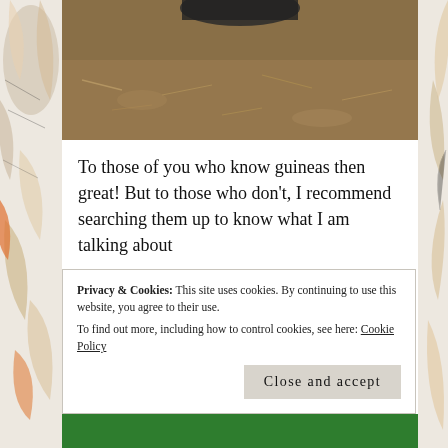[Figure (photo): Top portion of a photo showing dirt ground, partial view of a guinea fowl bird at the top edge]
To those of you who know guineas then great! But to those who don't, I recommend searching them up to know what I am talking about
Today's post I will be talking about the benefit of having these birds and why being noisy may come in handy😉
At our old house when I was little the farmer across from us owned a farm, he had guinea fowl that occasionally
Privacy & Cookies: This site uses cookies. By continuing to use this website, you agree to their use.
To find out more, including how to control cookies, see here: Cookie Policy
Close and accept